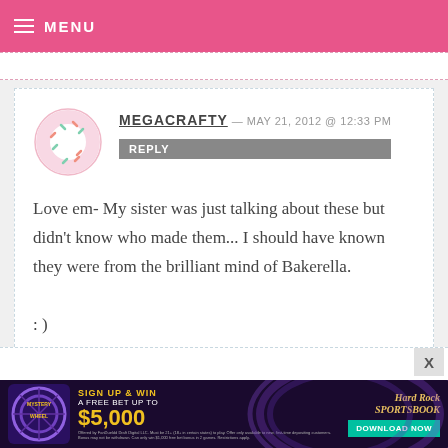MENU
MEGACRAFTY — MAY 21, 2012 @ 12:33 PM
REPLY
Love em- My sister was just talking about these but didn't know who made them... I should have known they were from the brilliant mind of Bakerella.
: )
[Figure (other): Hard Rock Sportsbook advertisement banner: Mystery Wheel - Sign Up & Win a free bet up to $5,000 - Download Now]